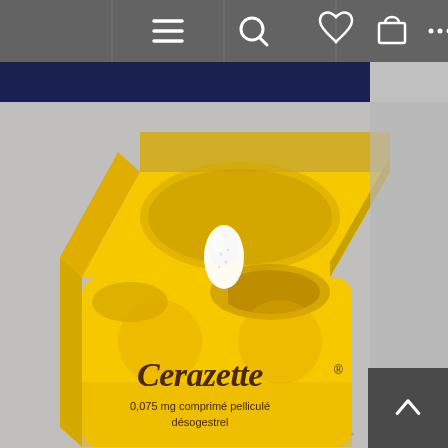[Figure (screenshot): Website navigation bar with menu (hamburger), search, heart/wishlist, shopping bag, and more options (ellipsis) icons on a grey background]
[Figure (photo): Cerazette contraceptive pill yellow plastic dispensing box opened, showing a single white tablet raised on a peg. The box is labelled 'Cerazette 0.075 mg comprimé pelliculé désogestrel' in dark brown script font on a bright yellow background.]